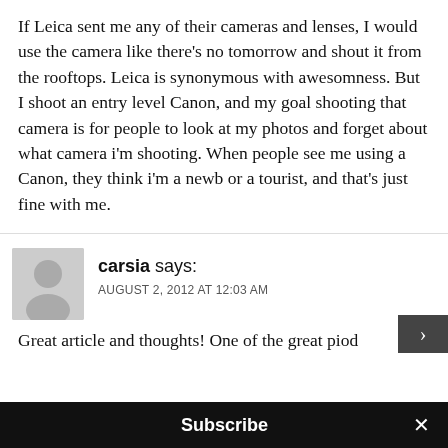If Leica sent me any of their cameras and lenses, I would use the camera like there's no tomorrow and shout it from the rooftops. Leica is synonymous with awesomness. But I shoot an entry level Canon, and my goal shooting that camera is for people to look at my photos and forget about what camera i'm shooting. When people see me using a Canon, they think i'm a newb or a tourist, and that's just fine with me.
carsia says: AUGUST 2, 2012 AT 12:03 AM
Great article and thoughts! One of the great piod...
Subscribe